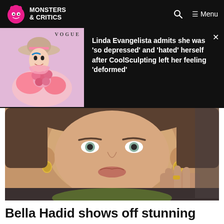Monsters & Critics
[Figure (screenshot): Promo thumbnail: Vogue magazine cover style photo of a person in pink floral outfit with wide brim hat]
Linda Evangelista admits she was 'so depressed' and 'hated' herself after CoolSculpting left her feeling 'deformed'
[Figure (photo): Close-up photo of Bella Hadid taking a selfie in a car, wearing gold hoop earrings]
Bella Hadid shows off stunning sunset during bikini beach day
[Figure (photo): Partial photo of Bella Hadid at the beach]